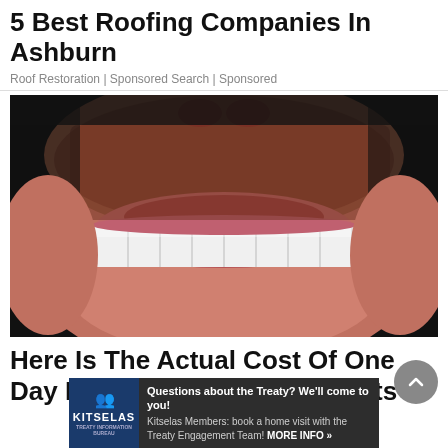5 Best Roofing Companies In Ashburn
Roof Restoration | Sponsored Search | Sponsored
[Figure (photo): Close-up photograph of a man's lower face showing white teeth/dental implants with stubble beard on dark background]
Here Is The Actual Cost Of One Day Full Mouth Dental Implants
[Figure (infographic): Advertisement banner for Kitselas Treaty with logo and text: Questions about the Treaty? We'll come to you! Kitselas Members: book a home visit with the Treaty Engagement Team! MORE INFO »]